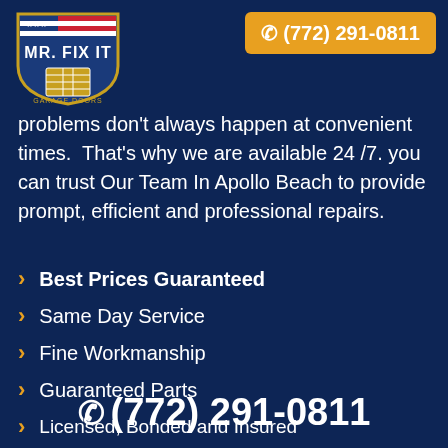[Figure (logo): Mr. Fix It Garage Doors shield logo with American flag design]
☎ (772) 291-0811
problems don't always happen at convenient times.  That's why we are available 24 /7. you can trust Our Team In Apollo Beach to provide prompt, efficient and professional repairs.
Best Prices Guaranteed
Same Day Service
Fine Workmanship
Guaranteed Parts
Licensed, Bonded and Insured
☎ (772) 291-0811